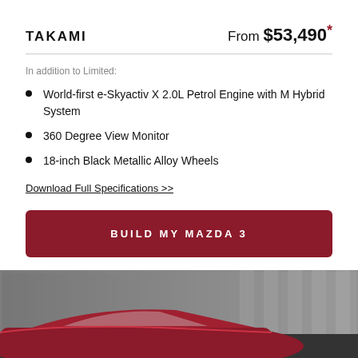TAKAMI
From $53,490*
In addition to Limited:
World-first e-Skyactiv X 2.0L Petrol Engine with M Hybrid System
360 Degree View Monitor
18-inch Black Metallic Alloy Wheels
Download Full Specifications >>
BUILD MY MAZDA 3
[Figure (photo): Partial view of a red Mazda 3 car in motion, blurred background with urban/building setting]